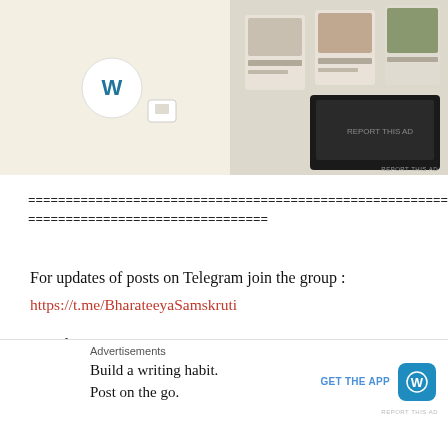[Figure (screenshot): WordPress advertisement showing WordPress logo on beige background with food/menu images on the right side]
================================================================
=================================
For updates of posts on Telegram join the group :
https://t.me/BharateeyaSamskruti
On whatsapp:
https://chat.whatsapp.com/Ce7yZ5yAAq3C3k9pYHsA7T
For Talks on Significance of Ramayana — Check the Youtube Channel:
[Figure (screenshot): WordPress advertisement at bottom: Build a writing habit. Post on the go. GET THE APP with WordPress logo]